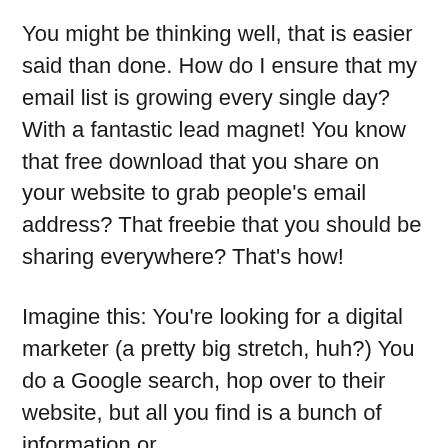You might be thinking well, that is easier said than done. How do I ensure that my email list is growing every single day? With a fantastic lead magnet! You know that free download that you share on your website to grab people's email address? That freebie that you should be sharing everywhere? That's how!
Imagine this: You're looking for a digital marketer (a pretty big stretch, huh?) You do a Google search, hop over to their website, but all you find is a bunch of information or